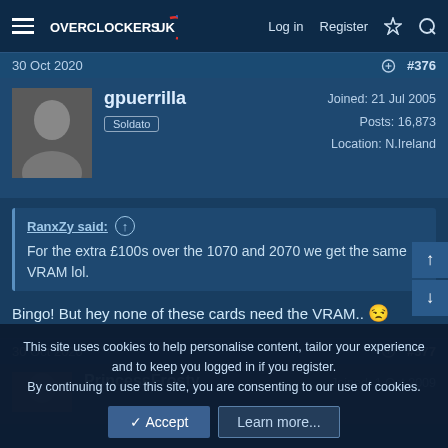Overclockers UK — Log in  Register
30 Oct 2020  #376
gpuerrilla
Soldato
Joined: 21 Jul 2005
Posts: 16,873
Location: N.Ireland
RanxZy said:
For the extra £100s over the 1070 and 2070 we get the same VRAM lol.
Bingo! But hey none of these cards need the VRAM.. 😒
30 Oct 2020  #377
PrincessFrosty
Joined: 1 Oct 2009
This site uses cookies to help personalise content, tailor your experience and to keep you logged in if you register.
By continuing to use this site, you are consenting to our use of cookies.
✓ Accept    Learn more...